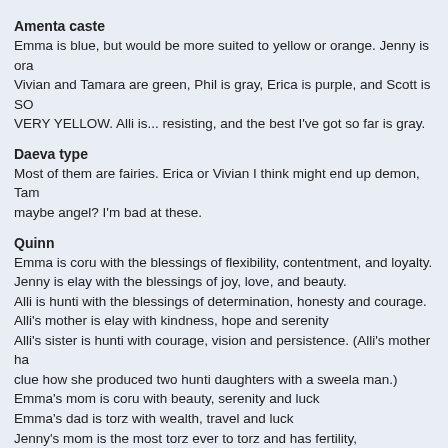Amenta caste
Emma is blue, but would be more suited to yellow or orange. Jenny is ora Vivian and Tamara are green, Phil is gray, Erica is purple, and Scott is SO VERY YELLOW. Alli is... resisting, and the best I've got so far is gray.
Daeva type
Most of them are fairies. Erica or Vivian I think might end up demon, Tam maybe angel? I'm bad at these.
Quinn
Emma is coru with the blessings of flexibility, contentment, and loyalty.
Jenny is elay with the blessings of joy, love, and beauty.
Alli is hunti with the blessings of determination, honesty and courage.
Alli's mother is elay with kindness, hope and serenity
Alli's sister is hunti with courage, vision and persistence. (Alli's mother ha clue how she produced two hunti daughters with a sweela man.)
Emma's mom is coru with beauty, serenity and luck
Emma's dad is torz with wealth, travel and luck
Jenny's mom is the most torz ever to torz and has fertility, contentment a
Jenny's dad is torz-but-slightly less, and has spirituality, resilience and lo
Working on blessings for Phil (hunti), Erica (coru), Vivian (sweela/hunti?), (a very even tempered sweela) and Scott (torz)
Threefold